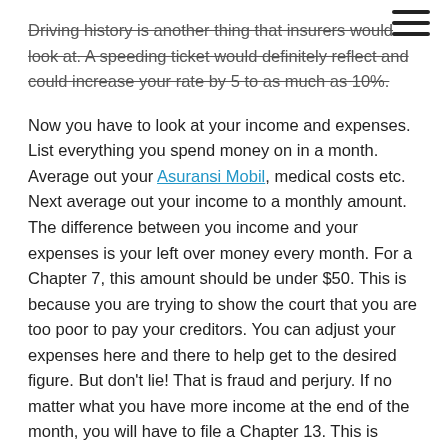[Figure (other): Hamburger menu icon (three horizontal lines) in top right corner]
Driving history is another thing that insurers would look at. A speeding ticket would definitely reflect and could increase your rate by 5 to as much as 10%.
Now you have to look at your income and expenses. List everything you spend money on in a month. Average out your Asuransi Mobil, medical costs etc. Next average out your income to a monthly amount. The difference between you income and your expenses is your left over money every month. For a Chapter 7, this amount should be under $50. This is because you are trying to show the court that you are too poor to pay your creditors. You can adjust your expenses here and there to help get to the desired figure. But don't lie! That is fraud and perjury. If no matter what you have more income at the end of the month, you will have to file a Chapter 13. This is because you